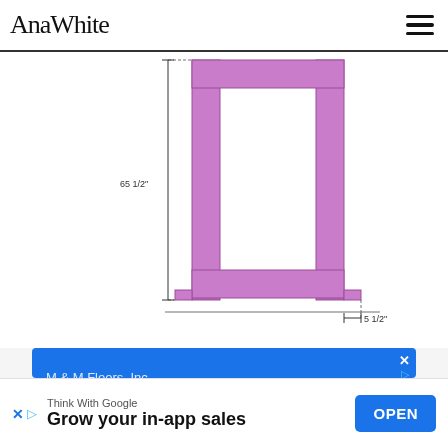AnaWhite
[Figure (engineering-diagram): Engineering schematic of a frame structure (front view) drawn in purple/pink. Shows a rectangular frame with vertical posts and a horizontal bottom rail. Dimension annotations: '65 1/2"' indicating the height on the left side, and '5 1/2"' indicating the width of a foot/base element at bottom right. The frame has an open center (white interior). Drawn on white background.]
[Figure (screenshot): Advertisement banner for M & M Floors, Inc with blue background. Text reads: 'M & M Floors, Inc', 'Contact Us for Details', 'We Provide Hardwood Flooring'. Has a close/ad icon in the top right corner.]
Think With Google
Grow your in-app sales
OPEN